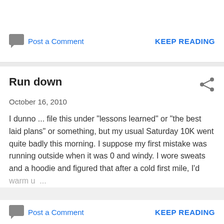Post a Comment
KEEP READING
Run down
October 16, 2010
I dunno ... file this under "lessons learned" or "the best laid plans" or something, but my usual Saturday 10K went quite badly this morning. I suppose my first mistake was running outside when it was 0 and windy. I wore sweats and a hoodie and figured that after a cold first mile, I'd warm u...
Post a Comment
KEEP READING